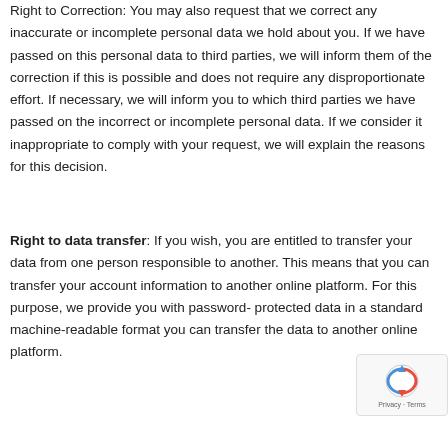Right to Correction: You may also request that we correct any inaccurate or incomplete personal data we hold about you. If we have passed on this personal data to third parties, we will inform them of the correction if this is possible and does not require any disproportionate effort. If necessary, we will inform you to which third parties we have passed on the incorrect or incomplete personal data. If we consider it inappropriate to comply with your request, we will explain the reasons for this decision.
Right to data transfer: If you wish, you are entitled to transfer your data from one person responsible to another. This means that you can transfer your account information to another online platform. For this purpose, we provide you with password-protected data in a standard machine-readable format you can transfer the data to another online platform.